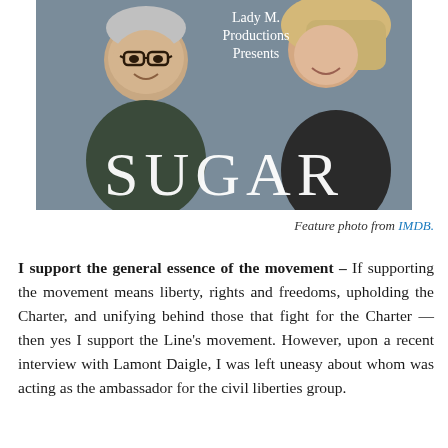[Figure (photo): A promotional movie poster photo for 'Sugar' by Lady M. Productions. Shows a smiling man with glasses and grey hair on the left, and a smiling woman on the right. White text overlaid reads 'Lady M. Productions Presents' at the top and 'SUGAR' in large letters at the bottom.]
Feature photo from IMDB.
I support the general essence of the movement — If supporting the movement means liberty, rights and freedoms, upholding the Charter, and unifying behind those that fight for the Charter — then yes I support the Line's movement. However, upon a recent interview with Lamont Daigle, I was left uneasy about whom was acting as the ambassador for the civil liberties group.